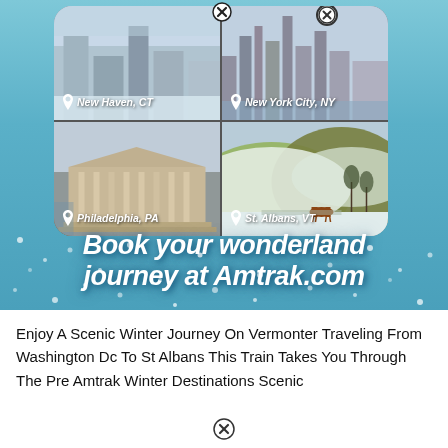[Figure (infographic): Amtrak winter destinations promotional image showing a phone-screen grid of four winter city photos: New Haven CT (snowy urban scene), New York City NY (winter cityscape), Philadelphia PA (classical buildings), St. Albans VT (snowy hills with horses). Below the photos, bold italic white text reads 'Book your wonderland journey at Amtrak.com' on a blue snowy background.]
Enjoy A Scenic Winter Journey On Vermonter Traveling From Washington Dc To St Albans This Train Takes You Through The Pre Amtrak Winter Destinations Scenic